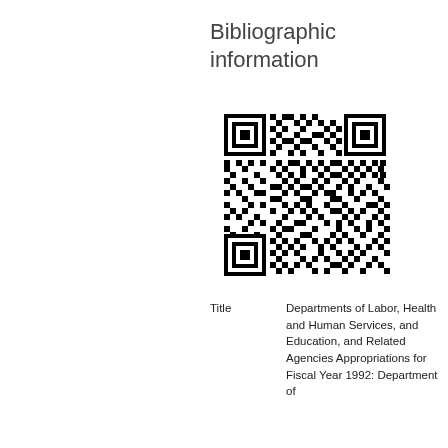Bibliographic information
[Figure (other): QR code linking to bibliographic record]
| Title | Departments of Labor, Health and Human Services, and Education, and Related Agencies Appropriations for Fiscal Year 1992: Department of |